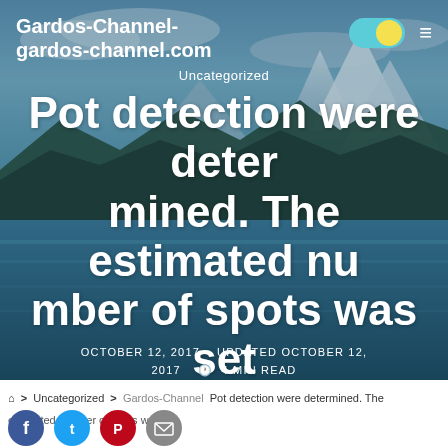Gardos-Channel-
gardos-channel.com
Uncategorized
Pot detection were deter mined. The estimated nu mber of spots was set
OCTOBER 12, 2017   UPDATED OCTOBER 12, 2017   🕐 4 MIN READ
🏠 > Uncategorized > Gardos-Channel Pot detection were determined. The estimated number of spots was set
[Figure (photo): Scenic mountain landscape with snow-capped peaks, forested slopes, and a turquoise river/lake in the foreground under a cloudy sky. Background for a blog article header.]